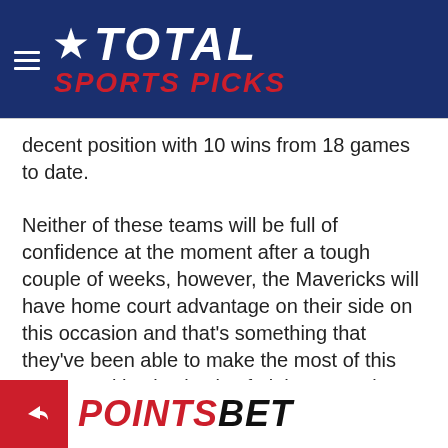TOTAL SPORTS PICKS
decent position with 10 wins from 18 games to date.
Neither of these teams will be full of confidence at the moment after a tough couple of weeks, however, the Mavericks will have home court advantage on their side on this occasion and that's something that they've been able to make the most of this season, with wins in six of eight games in Dallas. We expect that trend to continue and for the Mavs to make relatively light work of the Cavs.
[Figure (logo): Points Bet partial logo at the bottom of the page in red and black text]